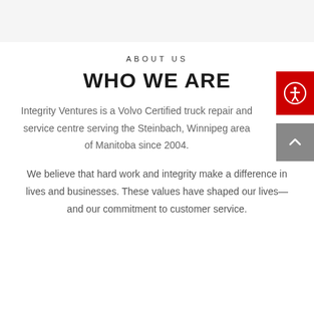ABOUT US
WHO WE ARE
Integrity Ventures is a Volvo Certified truck repair and service centre serving the Steinbach, Winnipeg area of Manitoba since 2004.
We believe that hard work and integrity make a difference in lives and businesses. These values have shaped our lives—and our commitment to customer service.